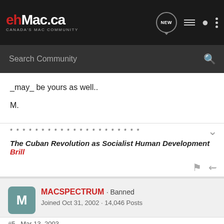[Figure (screenshot): ehMac.ca Canada's Mac Community website header with logo and navigation icons]
_may_ be yours as well..
M.
* * * * * * * * * * * * * * * * * * * * *
The Cuban Revolution as Socialist Human Development Brill
MACSPECTRUM · Banned
Joined Oct 31, 2002 · 14,046 Posts
#5 · Mar 13, 2003